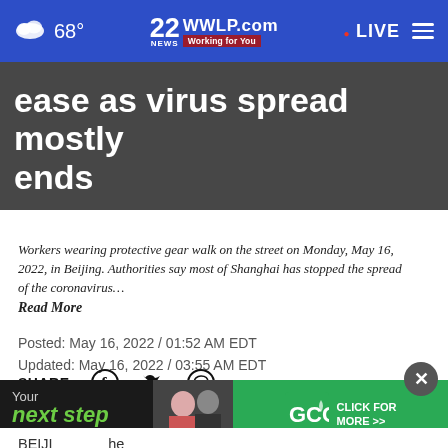68° | 22WWLP.com Working for You | LIVE
ease as virus spread mostly ends
Workers wearing protective gear walk on the street on Monday, May 16, 2022, in Beijing. Authorities say most of Shanghai has stopped the spread of the coronavirus… Read More
Posted: May 16, 2022 / 01:52 AM EDT
Updated: May 16, 2022 / 03:55 AM EDT
SHARE
BEIJING ... the spread ... fewer